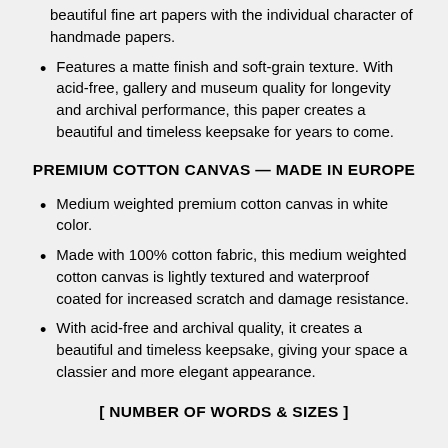beautiful fine art papers with the individual character of handmade papers.
Features a matte finish and soft-grain texture. With acid-free, gallery and museum quality for longevity and archival performance, this paper creates a beautiful and timeless keepsake for years to come.
PREMIUM COTTON CANVAS — MADE IN EUROPE
Medium weighted premium cotton canvas in white color.
Made with 100% cotton fabric, this medium weighted cotton canvas is lightly textured and waterproof coated for increased scratch and damage resistance.
With acid-free and archival quality, it creates a beautiful and timeless keepsake, giving your space a classier and more elegant appearance.
[ NUMBER OF WORDS & SIZES ]